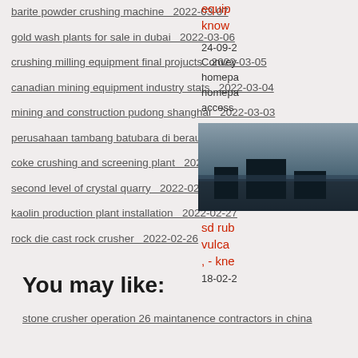barite powder crushing machine  2022-03-07
gold wash plants for sale in dubai  2022-03-06
crushing milling equipment final projucts  2022-03-05
canadian mining equipment industry stats  2022-03-04
mining and construction pudong shanghai  2022-03-03
perusahaan tambang batubara di berau  2022-03-02
coke crushing and screening plant  2022-03-01
second level of crystal quarry  2022-02-28
kaolin production plant installation  2022-02-27
rock die cast rock crusher  2022-02-26
You may like:
stone crusher operation 26 maintanence contractors in china
equip know
24-09-2 Convey homepa homepa access
[Figure (photo): Dark industrial or landscape photograph showing machinery or terrain]
sd rub vulca , - kne
18-02-2